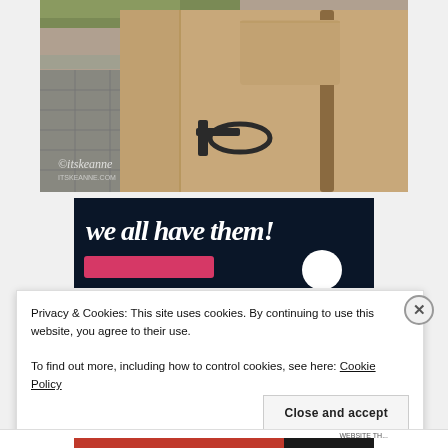[Figure (photo): Close-up photo of a person wearing a camel/tan duffle coat with toggle fastening, watermarked with '@itskeanne' text. Green grass visible in background.]
[Figure (screenshot): Dark navy banner with large bold italic white text reading 'we all have them!' with a pink button and a white circle below.]
Privacy & Cookies: This site uses cookies. By continuing to use this website, you agree to their use.
To find out more, including how to control cookies, see here: Cookie Policy
Close and accept